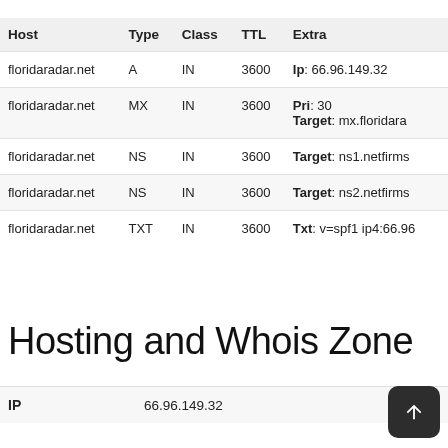| Host | Type | Class | TTL | Extra |
| --- | --- | --- | --- | --- |
| floridaradar.net | A | IN | 3600 | Ip: 66.96.149.32 |
| floridaradar.net | MX | IN | 3600 | Pri: 30
Target: mx.floridara... |
| floridaradar.net | NS | IN | 3600 | Target: ns1.netfirms... |
| floridaradar.net | NS | IN | 3600 | Target: ns2.netfirms... |
| floridaradar.net | TXT | IN | 3600 | Txt: v=spf1 ip4:66.96... |
Hosting and Whois Zone
| IP |  |  |
| --- | --- | --- |
| IP | 66.96.149.32 |  |